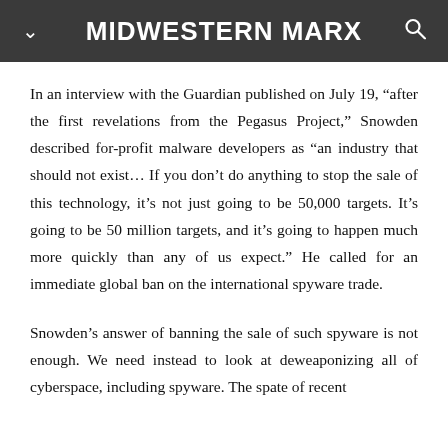MIDWESTERN MARX
In an interview with the Guardian published on July 19, “after the first revelations from the Pegasus Project,” Snowden described for-profit malware developers as “an industry that should not exist… If you don’t do anything to stop the sale of this technology, it’s not just going to be 50,000 targets. It’s going to be 50 million targets, and it’s going to happen much more quickly than any of us expect.” He called for an immediate global ban on the international spyware trade.
Snowden’s answer of banning the sale of such spyware is not enough. We need instead to look at deweaponizing all of cyberspace, including spyware. The spate of recent